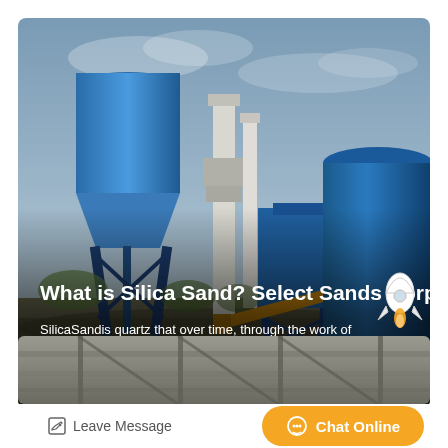[Figure (photo): Industrial silica sand processing facility with large blue silos, conveyor belts, and storage tanks against a cloudy sky. White title text overlay: 'What is Silica Sand? Select Sands Corp' and descriptive text below.]
What is Silica Sand? Select Sands Corp
SilicaSandis quartz that over time, through the work of water and wind, has been broken down into tiny granules.. Commercial...
[Figure (photo): Interior view of an industrial facility with steel structures and overhead beams.]
Leave Message
Chat Online